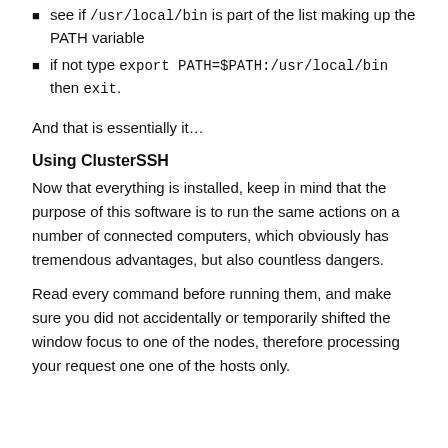see if /usr/local/bin is part of the list making up the PATH variable
if not type export PATH=$PATH:/usr/local/bin then exit.
And that is essentially it…
Using ClusterSSH
Now that everything is installed, keep in mind that the purpose of this software is to run the same actions on a number of connected computers, which obviously has tremendous advantages, but also countless dangers.
Read every command before running them, and make sure you did not accidentally or temporarily shifted the window focus to one of the nodes, therefore processing your request one one of the hosts only.